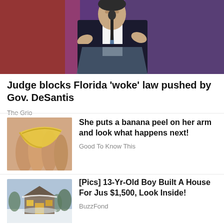[Figure (photo): Man in dark suit at a glass podium speaking, with colorful background]
Judge blocks Florida ‘woke’ law pushed by Gov. DeSantis
The Grio
[Figure (photo): Close-up of hands rubbing a banana peel on skin]
She puts a banana peel on her arm and look what happens next!
Good To Know This
[Figure (photo): Small house in snow with warm interior light visible through window]
[Pics] 13-Yr-Old Boy Built A House For Jus $1,500, Look Inside!
BuzzFond